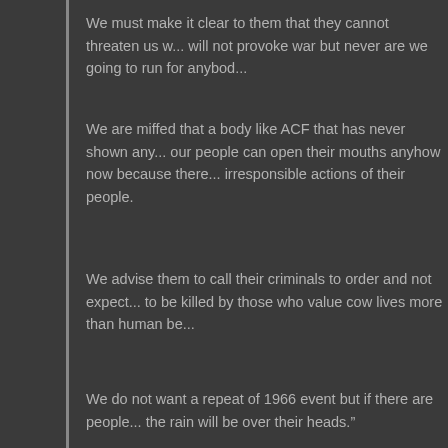We must make it clear to them that they cannot threaten us w... will not provoke war but never are we going to run for anybod...
We are miffed that a body like ACF that has never shown any... our people can open their mouths anyhow now because there... irresponsible actions of their people.
We advise them to call their criminals to order and not expect... to be killed by those who value cow lives more than human be...
We do not want a repeat of 1966 event but if there are people... the rain will be over their heads.”
[Figure (other): Social sharing icons: Email (M envelope), Blogger (B), Twitter bird, Facebook (f)]
YOUNGBLIZZYTV.COM
WRITTEN BY ADMIN